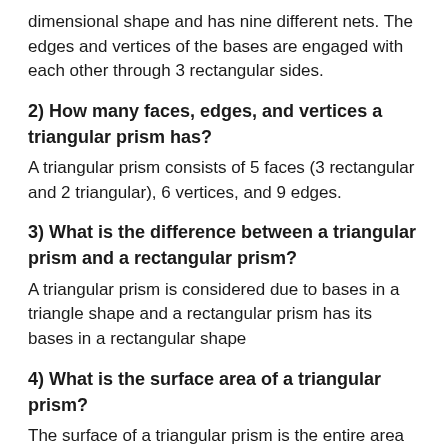dimensional shape and has nine different nets. The edges and vertices of the bases are engaged with each other through 3 rectangular sides.
2) How many faces, edges, and vertices a triangular prism has?
A triangular prism consists of 5 faces (3 rectangular and 2 triangular), 6 vertices, and 9 edges.
3) What is the difference between a triangular prism and a rectangular prism?
A triangular prism is considered due to bases in a triangle shape and a rectangular prism has its bases in a rectangular shape
4) What is the surface area of a triangular prism?
The surface of a triangular prism is the entire area